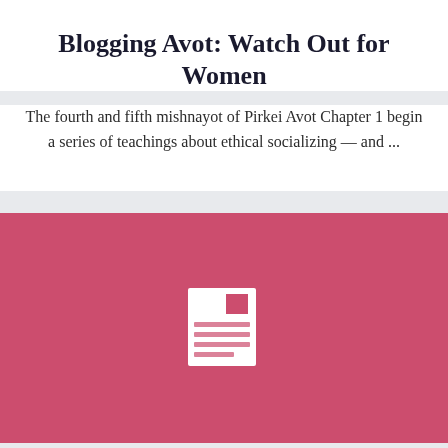Blogging Avot: Watch Out for Women
The fourth and fifth mishnayot of Pirkei Avot Chapter 1 begin a series of teachings about ethical socializing — and ...
[Figure (illustration): A pink/rose colored rectangle acting as a featured image placeholder, containing a small white document icon with lines of text and a colored square in the upper right of the icon.]